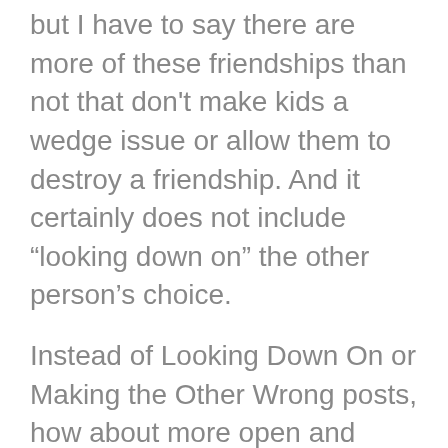but I have to say there are more of these friendships than not that don't make kids a wedge issue or allow them to destroy a friendship. And it certainly does not include “looking down on” the other person’s choice.
Instead of Looking Down On or Making the Other Wrong posts, how about more open and dignified discussion on why we can feel compelled to have to feel superior to someone else in this realm or any realm for that matter. How about more discourse about the insights that come from pointing the finger at